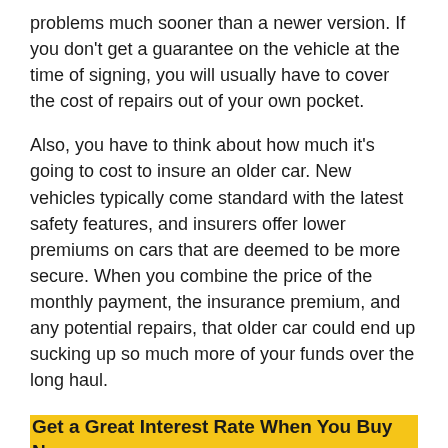problems much sooner than a newer version. If you don't get a guarantee on the vehicle at the time of signing, you will usually have to cover the cost of repairs out of your own pocket.
Also, you have to think about how much it's going to cost to insure an older car. New vehicles typically come standard with the latest safety features, and insurers offer lower premiums on cars that are deemed to be more secure. When you combine the price of the monthly payment, the insurance premium, and any potential repairs, that older car could end up sucking up so much more of your funds over the long haul.
Get a Great Interest Rate When You Buy New
Dealerships are known for running special deals where they promise low or no interest rates on brand new cars. You may be able to score the ride of your dreams with an excellent interest rate when you make the decision to